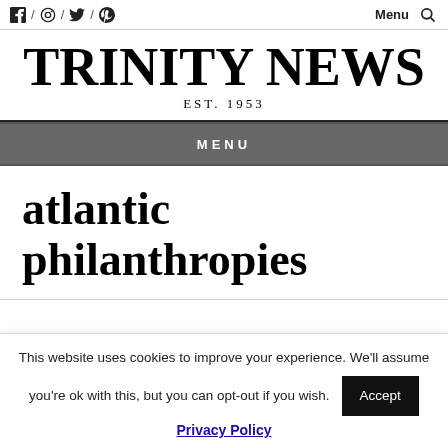f / ○ / ✦ / ❄  Menu 🔍
TRINITY NEWS EST. 1953
MENU
atlantic philanthropies
This website uses cookies to improve your experience. We'll assume you're ok with this, but you can opt-out if you wish. Accept
Privacy Policy